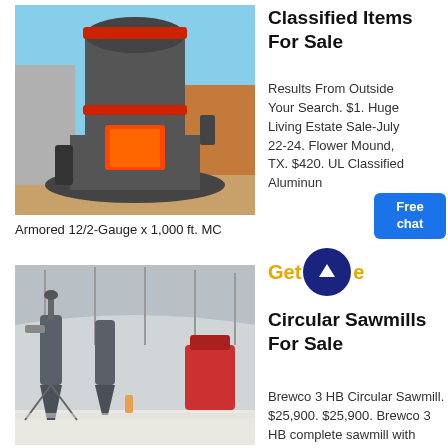[Figure (photo): Industrial grinding mill machine outdoors, large grey cylindrical structure with red bands and an open furnace opening, heavy machinery on a flat base, outdoor industrial setting with walls in background]
Armored 12/2-Gauge x 1,000 ft. MC
Classified Items For Sale
Results From Outside Your Search. $1. Huge Living Estate Sale-July 22-24. Flower Mound, TX. $420. UL Classified Aluminum
Free chat
Get
[Figure (photo): Interior of a large industrial factory/mill hall with high arched metal roof, cyclone dust collectors and industrial machinery on a polished concrete floor, blue and grey tones]
Circular Sawmills For Sale
Brewco 3 HB Circular Sawmill. $25,900. $25,900. Brewco 3 HB complete sawmill with